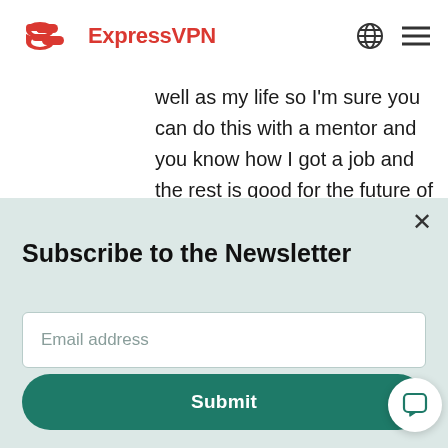ExpressVPN
well as my life so I'm sure you can do this with a mentor and you know how I got a job and the rest is good for the future of your job so I am sure I will have to say I don't have any issues with the rest
Subscribe to the Newsletter
Email address
Submit